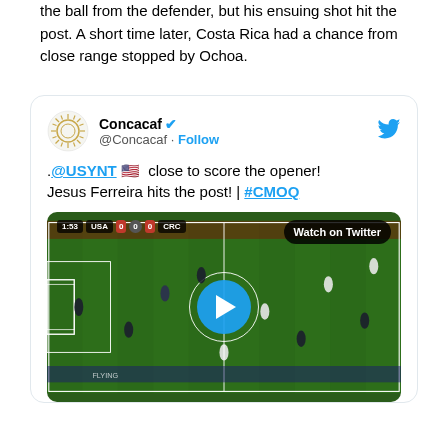the ball from the defender, but his ensuing shot hit the post. A short time later, Costa Rica had a chance from close range stopped by Ochoa.
[Figure (screenshot): Embedded tweet from @Concacaf with text '.@USYNT close to score the opener! Jesus Ferreira hits the post! | #CMOQ' and a video thumbnail showing a soccer match (USA 0-0 CRC) with a play button overlay and 'Watch on Twitter' badge.]